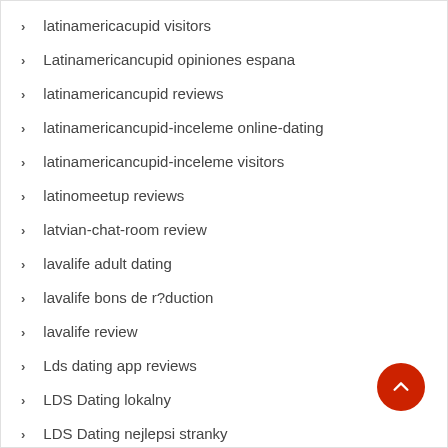latinamericacupid visitors
Latinamericancupid opiniones espana
latinamericancupid reviews
latinamericancupid-inceleme online-dating
latinamericancupid-inceleme visitors
latinomeetup reviews
latvian-chat-room review
lavalife adult dating
lavalife bons de r?duction
lavalife review
Lds dating app reviews
LDS Dating lokalny
LDS Dating nejlepsi stranky
LDS Dating site for people
LDS Dating username